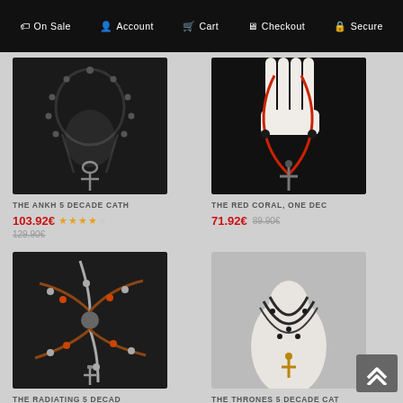On Sale  Account  Cart  Checkout  Secure
[Figure (photo): Dark rosary necklace with ankh cross pendant on black background]
THE ANKH 5 DECADE CATH
103.92€  ★★★★☆  129.90€
[Figure (photo): Red coral rosary with cross pendant held by white mannequin hand]
THE RED CORAL, ONE DEC
71.92€  89.90€
[Figure (photo): Colorful beaded radiating rosary with crucifix on dark background]
THE RADIATING 5 DECAD
127.92€  159.90€
[Figure (photo): Dark beaded rosary necklace displayed on white mannequin bust]
THE THRONES 5 DECADE CAT
119.92€  ★★★★☆  149.90€